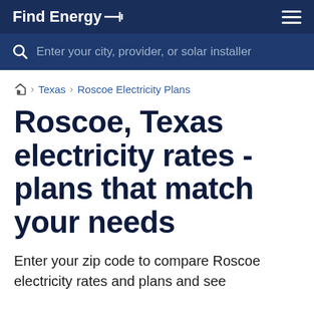Find Energy
Enter your city, provider, or solar installer
🏠 › Texas › Roscoe Electricity Plans
Roscoe, Texas electricity rates - plans that match your needs
Enter your zip code to compare Roscoe electricity rates and plans and see